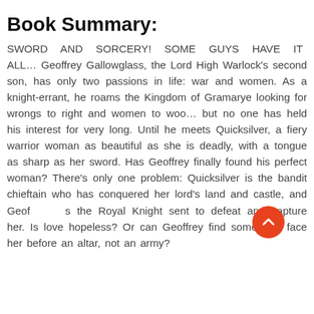Book Summary:
SWORD AND SORCERY! SOME GUYS HAVE IT ALL… Geoffrey Gallowglass, the Lord High Warlock's second son, has only two passions in life: war and women. As a knight-errant, he roams the Kingdom of Gramarye looking for wrongs to right and women to woo… but no one has held his interest for very long. Until he meets Quicksilver, a fiery warrior woman as beautiful as she is deadly, with a tongue as sharp as her sword. Has Geoffrey finally found his perfect woman? There's only one problem: Quicksilver is the bandit chieftain who has conquered her lord's land and castle, and Geoffrey's the Royal Knight sent to defeat and capture her. Is love hopeless? Or can Geoffrey find some way face her before an altar, not an army?